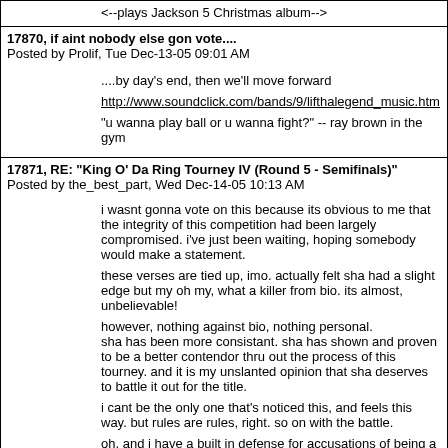<--plays Jackson 5 Christmas album-->
17870, if aint nobody else gon vote....
Posted by Prolif, Tue Dec-13-05 09:01 AM
....by day's end, then we'll move forward
http://www.soundclick.com/bands/9/lifthalegend_music.htm
"u wanna play ball or u wanna fight?" -- ray brown in the gym
17871, RE: "King O' Da Ring Tourney IV (Round 5 - Semifinals)"
Posted by the_best_part, Wed Dec-14-05 10:13 AM
i wasnt gonna vote on this because its obvious to me that the integrity of this competition had been largely compromised. i've just been waiting, hoping somebody would make a statement.
these verses are tied up, imo. actually felt sha had a slight edge but my oh my, what a killer from bio. its almost, unbelievable!
however, nothing against bio, nothing personal.
sha has been more consistant. sha has shown and proven to be a better contendor thru out the process of this tourney. and it is my unslanted opinion that sha deserves to battle it out for the title.
i cant be the only one that's noticed this, and feels this way. but rules are rules, right. so on with the battle.
oh, and i have a built in defense for accusations of being a hater or dick riding or whatever. I DONT CARE. whats real is real and even if you wont